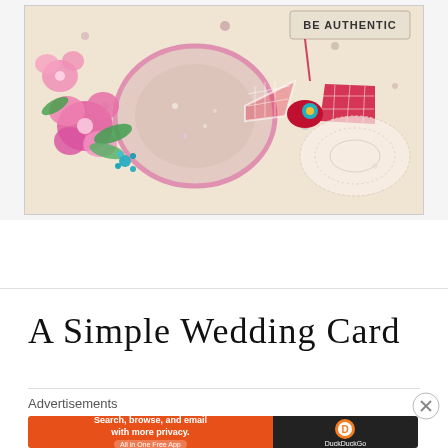[Figure (photo): A decorative handmade greeting card with pink floral embellishments, a gingham ribbon bow, lace elements, and a stamped tag reading 'BE AUTHENTIC' on a floral patterned background.]
A Simple Wedding Card
Advertisements
[Figure (screenshot): DuckDuckGo advertisement banner: 'Search, browse, and email with more privacy. All in One Free App' with DuckDuckGo logo on dark background.]